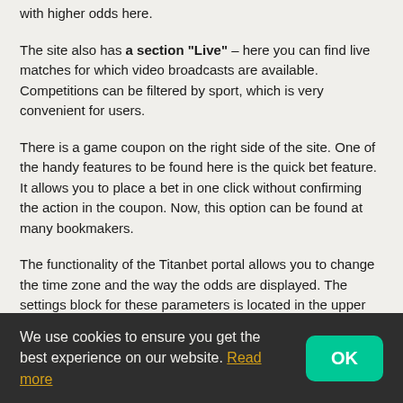with higher odds here.
The site also has a section “Live” – here you can find live matches for which video broadcasts are available. Competitions can be filtered by sport, which is very convenient for users.
There is a game coupon on the right side of the site. One of the handy features to be found here is the quick bet feature. It allows you to place a bet in one click without confirming the action in the coupon. Now, this option can be found at many bookmakers.
The functionality of the Titanbet portal allows you to change the time zone and the way the odds are displayed. The settings block for these parameters is located in the upper right corner of the screen.
Bet line:
The company offers a varied line. It includes all popular
We use cookies to ensure you get the best experience on our website. Read more